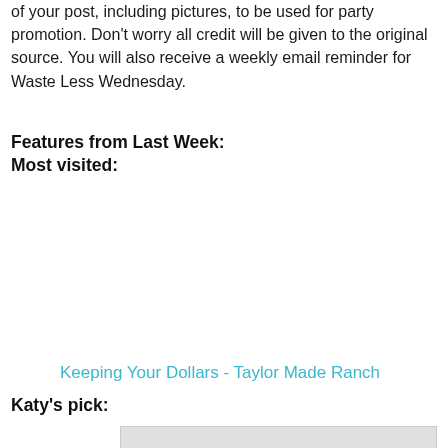of your post, including pictures, to be used for party promotion. Don't worry all credit will be given to the original source. You will also receive a weekly email reminder for Waste Less Wednesday.
Features from Last Week:
Most visited:
Keeping Your Dollars - Taylor Made Ranch
Katy's pick:
[Figure (photo): Partially visible image placeholder at bottom of page]